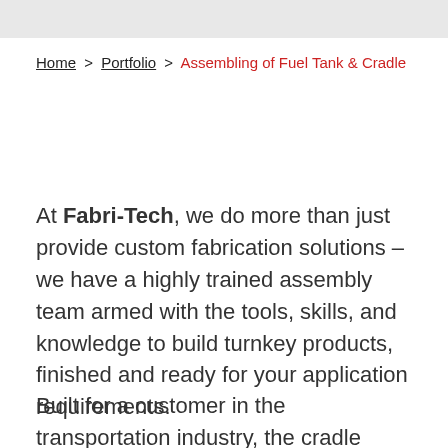Home > Portfolio > Assembling of Fuel Tank & Cradle
At Fabri-Tech, we do more than just provide custom fabrication solutions – we have a highly trained assembly team armed with the tools, skills, and knowledge to build turnkey products, finished and ready for your application requirements.
Built for a customer in the transportation industry, the cradle assembly shown here is